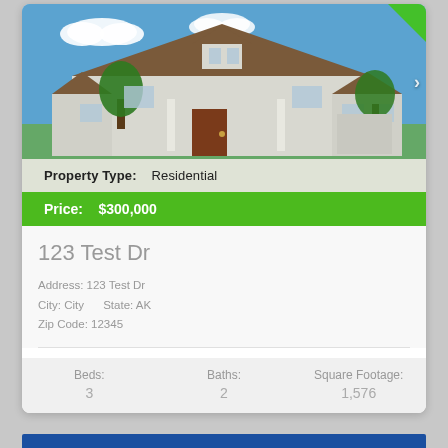[Figure (photo): Exterior photo of a residential house with white/grey siding, brown roof, front porch with columns, blue sky with clouds in background. Green corner badge at top right.]
Property Type:    Residential
Price:    $300,000
123 Test Dr
Address: 123 Test Dr
City: City    State: AK
Zip Code: 12345
| Beds: | Baths: | Square Footage: |
| --- | --- | --- |
| 3 | 2 | 1,576 |